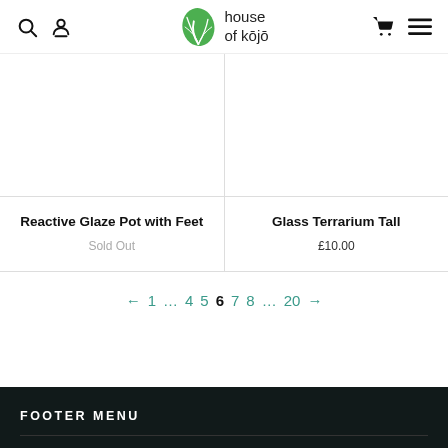house of kōjō — navigation header with search, account, cart, menu icons and logo
[Figure (photo): Product image area for Reactive Glaze Pot with Feet — white/blank image area]
Reactive Glaze Pot with Feet
Sold Out
[Figure (photo): Product image area for Glass Terrarium Tall — white/blank image area]
Glass Terrarium Tall
£10.00
← 1 … 4 5 6 7 8 … 20 →
FOOTER MENU